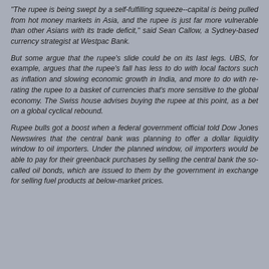"The rupee is being swept by a self-fulfilling squeeze--capital is being pulled from hot money markets in Asia, and the rupee is just far more vulnerable than other Asians with its trade deficit," said Sean Callow, a Sydney-based currency strategist at Westpac Bank.
But some argue that the rupee's slide could be on its last legs. UBS, for example, argues that the rupee's fall has less to do with local factors such as inflation and slowing economic growth in India, and more to do with re-rating the rupee to a basket of currencies that's more sensitive to the global economy. The Swiss house advises buying the rupee at this point, as a bet on a global cyclical rebound.
Rupee bulls got a boost when a federal government official told Dow Jones Newswires that the central bank was planning to offer a dollar liquidity window to oil importers. Under the planned window, oil importers would be able to pay for their greenback purchases by selling the central bank the so-called oil bonds, which are issued to them by the government in exchange for selling fuel products at below-market prices.